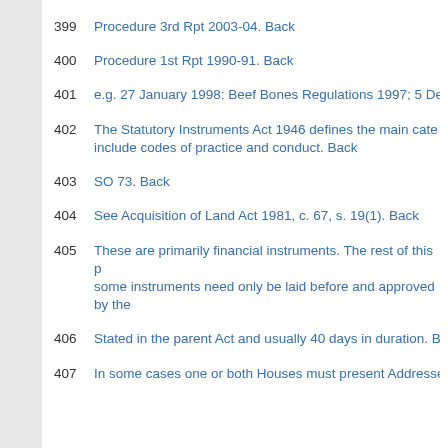399   Procedure 3rd Rpt 2003-04. Back
400   Procedure 1st Rpt 1990-91. Back
401   e.g. 27 January 1998: Beef Bones Regulations 1997; 5 De…
402   The Statutory Instruments Act 1946 defines the main cate… include codes of practice and conduct. Back
403   SO 73. Back
404   See Acquisition of Land Act 1981, c. 67, s. 19(1). Back
405   These are primarily financial instruments. The rest of this p… some instruments need only be laid before and approved by the…
406   Stated in the parent Act and usually 40 days in duration. B…
407   In some cases one or both Houses must present Addresses…